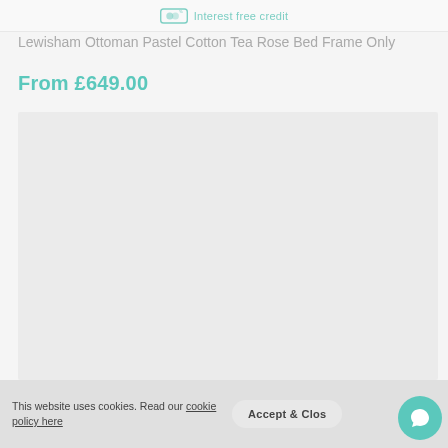Interest free credit
Lewisham Ottoman Pastel Cotton Tea Rose Bed Frame Only
From £649.00
[Figure (photo): Product image placeholder area for Lewisham Ottoman Pastel Cotton Tea Rose Bed Frame Only — light grey placeholder rectangle]
This website uses cookies. Read our cookie policy here
Accept & Close